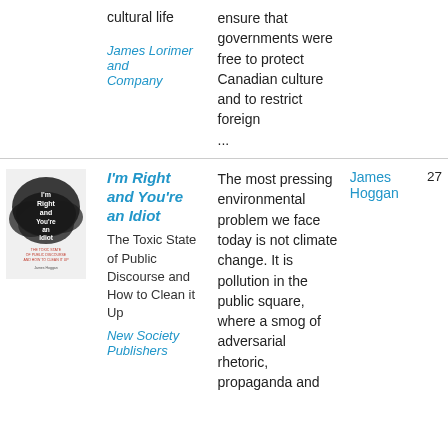cultural life
James Lorimer and Company
ensure that governments were free to protect Canadian culture and to restrict foreign ...
[Figure (illustration): Book cover of 'I'm Right and You're an Idiot' with dark smoky background]
I'm Right and You're an Idiot
The Toxic State of Public Discourse and How to Clean it Up
New Society Publishers
The most pressing environmental problem we face today is not climate change. It is pollution in the public square, where a smog of adversarial rhetoric, propaganda and
James Hoggan
27